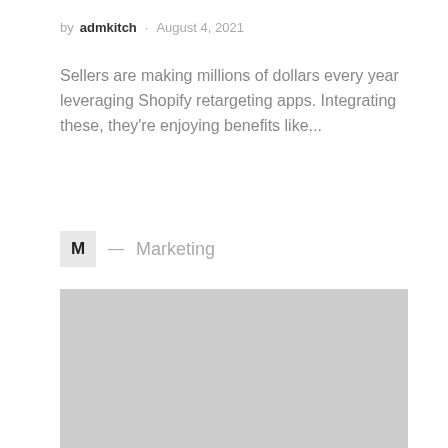by admkitch · August 4, 2021
Sellers are making millions of dollars every year leveraging Shopify retargeting apps. Integrating these, they're enjoying benefits like...
M — Marketing
[Figure (photo): Gray placeholder image rectangle]